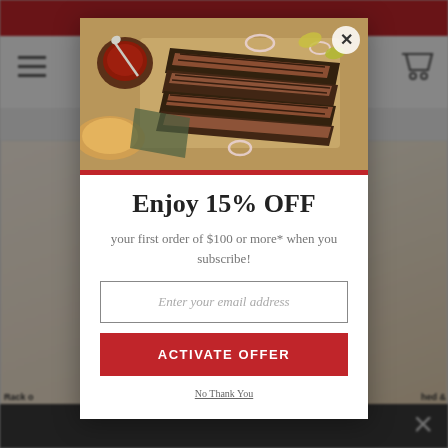[Figure (screenshot): Background website page showing a meat/BBQ e-commerce site with red header bar, navigation with hamburger menu and cart icon, and product images of rack of ribs and other meat products. A dark overlay covers the page.]
[Figure (photo): Modal popup header image showing sliced BBQ brisket on a wooden cutting board with sauce bowl, onion rings, and pickled peppers]
Enjoy 15% OFF
your first order of $100 or more* when you subscribe!
Enter your email address
ACTIVATE OFFER
No Thank You